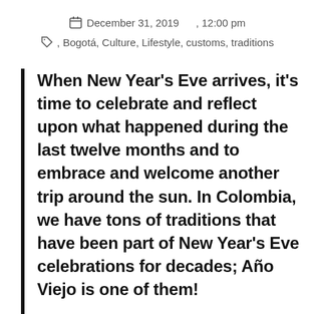December 31, 2019 , 12:00 pm
, Bogotá, Culture, Lifestyle, customs, traditions
When New Year's Eve arrives, it's time to celebrate and reflect upon what happened during the last twelve months and to embrace and welcome another trip around the sun. In Colombia, we have tons of traditions that have been part of New Year's Eve celebrations for decades; Año Viejo is one of them!
In Colombia, when it comes to New